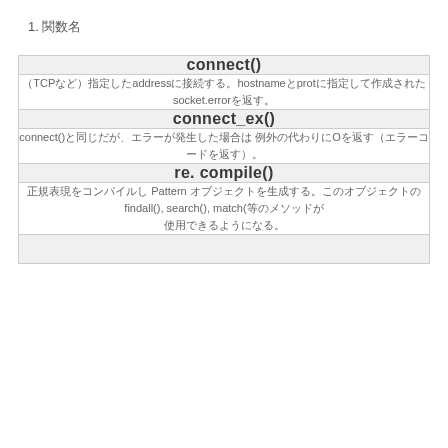1. 関数名
| connect() | connect_ex() | re. compile() |
| --- | --- | --- |
| （TCPなど）指定したaddressに接続する。hostnameとprotに指定して作成されたsocket.errorを返す。 |
| connect()と同じだが、エラーが発生した場合は 例外の代わりにOを返す（エラーコードを返す）。 |
| 正規表現をコンパイルし Pattern オブジェクトを生成する。このオブジェクトのfindall(), search(), match(等のメソッドが使用できるようになる。 |